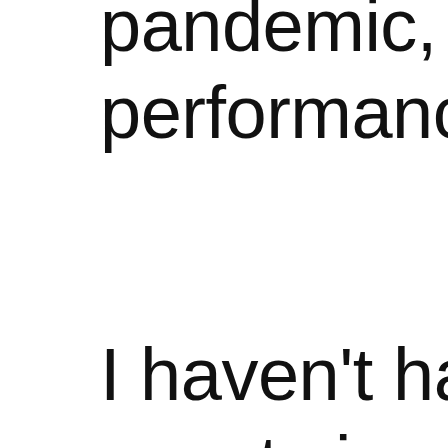pandemic, which ca performances to gri I haven't had the he events in my own ca though in the comin no chance I'll see th Kate Soper opera in Jersey, or hear Mits